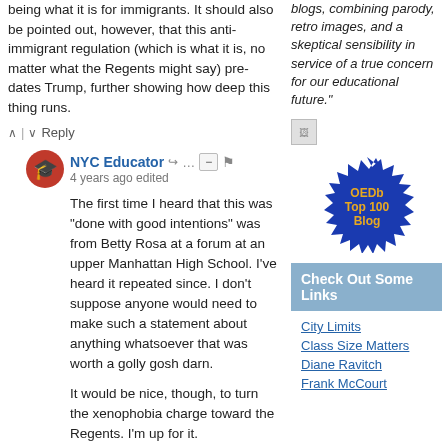being what it is for immigrants. It should also be pointed out, however, that this anti-immigrant regulation (which is what it is, no matter what the Regents might say) pre-dates Trump, further showing how deep this thing runs.
^ | v  Reply
NYC Educator  4 years ago edited
The first time I heard that this was "done with good intentions" was from Betty Rosa at a forum at an upper Manhattan High School. I've heard it repeated since. I don't suppose anyone would need to make such a statement about anything whatsoever that was worth a golly gosh darn.

It would be nice, though, to turn the xenophobia charge toward the Regents. I'm up for it.
blogs, combining parody, retro images, and a skeptical sensibility in service of a true concern for our educational future."
[Figure (logo): Small image placeholder icon]
[Figure (logo): OEDb Top 100 Blog blue starburst badge]
Check Out Some Links
City Limits
Class Size Matters
Diane Ravitch
Frank McCourt